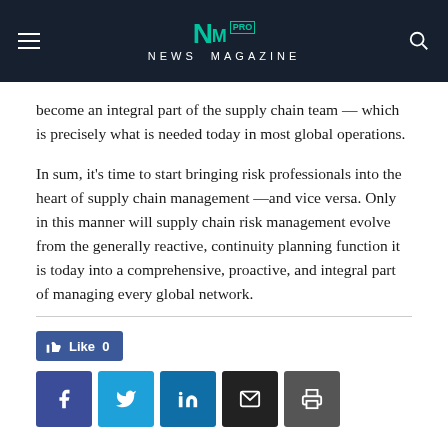NM PRO NEWS MAGAZINE
become an integral part of the supply chain team — which is precisely what is needed today in most global operations.
In sum, it's time to start bringing risk professionals into the heart of supply chain management —and vice versa. Only in this manner will supply chain risk management evolve from the generally reactive, continuity planning function it is today into a comprehensive, proactive, and integral part of managing every global network.
[Figure (other): Social share buttons: Like (Facebook), Facebook, Twitter, LinkedIn, Email, Print]